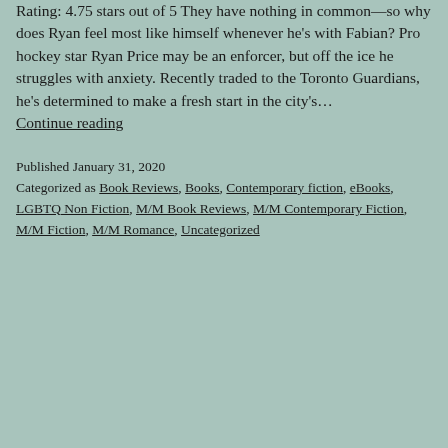Rating: 4.75 stars out of 5 They have nothing in common—so why does Ryan feel most like himself whenever he's with Fabian? Pro hockey star Ryan Price may be an enforcer, but off the ice he struggles with anxiety. Recently traded to the Toronto Guardians, he's determined to make a fresh start in the city's… Continue reading
Published January 31, 2020
Categorized as Book Reviews, Books, Contemporary fiction, eBooks, LGBTQ Non Fiction, M/M Book Reviews, M/M Contemporary Fiction, M/M Fiction, M/M Romance, Uncategorized